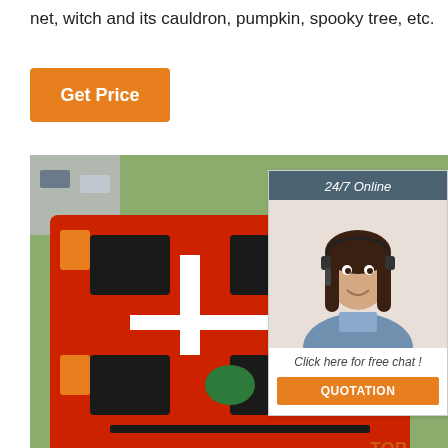net, witch and its cauldron, pumpkin, spooky tree, etc.
[Figure (other): Orange button labeled 'Get Price']
[Figure (photo): Large inflatable obstacle course structure, predominantly red/orange and black colors, viewed from above outdoors]
[Figure (other): Customer service chat widget showing a woman with a headset, '24/7 Online' header, 'Click here for free chat!' text, and an orange 'QUOTATION' button]